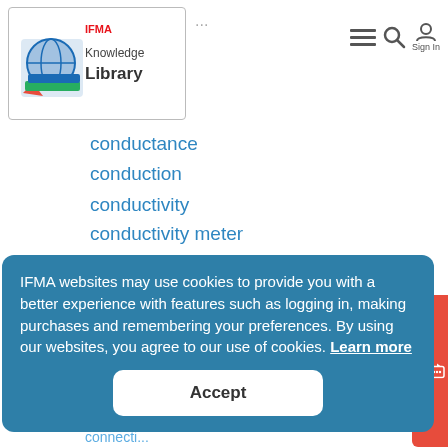[Figure (logo): IFMA Knowledge Library logo with globe icon and book stack]
conductance
conduction
conductivity
conductivity meter
conductor
conduit
conference call
confereys (partially obscured)
configuration
confined space
confusion
conifer
connecti... (partially obscured)
connecti... (partially obscured)
connector
IFMA websites may use cookies to provide you with a better experience with features such as logging in, making purchases and remembering your preferences. By using our websites, you agree to our use of cookies. Learn more
Accept